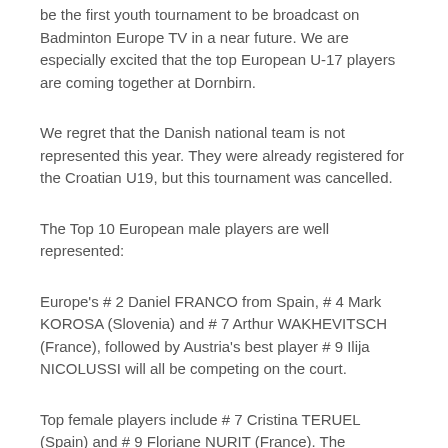be the first youth tournament to be broadcast on Badminton Europe TV in a near future. We are especially excited that the top European U-17 players are coming together at Dornbirn.
We regret that the Danish national team is not represented this year. They were already registered for the Croatian U19, but this tournament was cancelled.
The Top 10 European male players are well represented:
Europe's # 2 Daniel FRANCO from Spain, # 4 Mark KOROSA (Slovenia) and # 7 Arthur WAKHEVITSCH (France), followed by Austria's best player # 9 Ilija NICOLUSSI will all be competing on the court.
Top female players include # 7 Cristina TERUEL (Spain) and # 9 Floriane NURIT (France). The Peruvian players Rafaela and Fernanda MUNAR SOLIMANO will get a place in the main draw to play single after they won the U17 Spanish Open and the U17 Spain International.